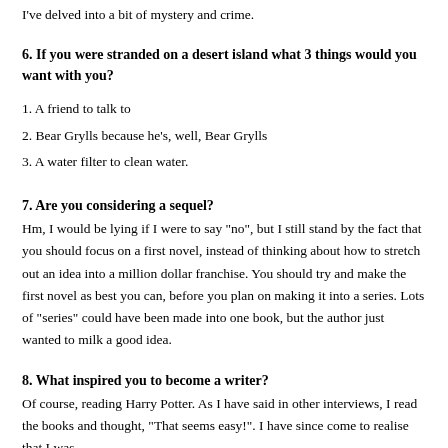I've delved into a bit of mystery and crime.
6. If you were stranded on a desert island what 3 things would you want with you?
1. A friend to talk to
2. Bear Grylls because he's, well, Bear Grylls
3. A water filter to clean water.
7. Are you considering a sequel?
Hm, I would be lying if I were to say "no", but I still stand by the fact that you should focus on a first novel, instead of thinking about how to stretch out an idea into a million dollar franchise. You should try and make the first novel as best you can, before you plan on making it into a series. Lots of "series" could have been made into one book, but the author just wanted to milk a good idea.
8. What inspired you to become a writer?
Of course, reading Harry Potter. As I have said in other interviews, I read the books and thought, "That seems easy!". I have since come to realise that I was